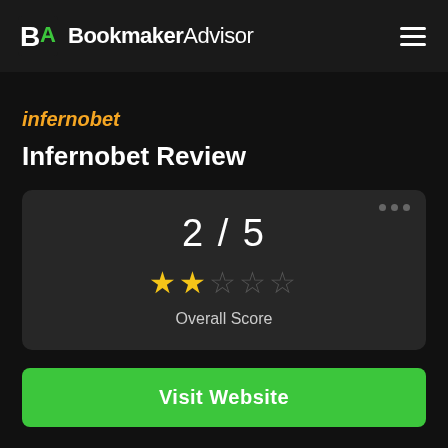BookmakerAdvisor
[Figure (logo): Infernobet logo with italic orange and yellow text]
Infernobet Review
[Figure (infographic): Score card showing 2/5 rating with 2 filled stars and 3 empty stars, labeled Overall Score]
Visit Website